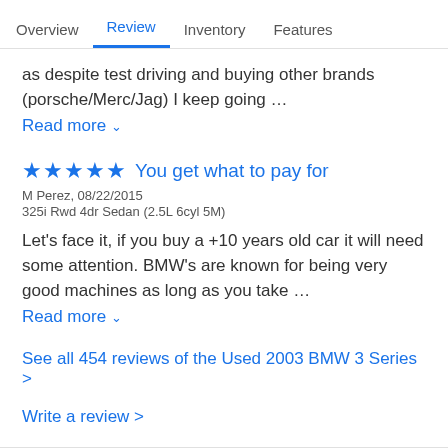Overview | Review | Inventory | Features
as despite test driving and buying other brands (porsche/Merc/Jag) I keep going …
Read more ∨
★★★★★ You get what to pay for
M Perez, 08/22/2015
325i Rwd 4dr Sedan (2.5L 6cyl 5M)
Let's face it, if you buy a +10 years old car it will need some attention. BMW's are known for being very good machines as long as you take …
Read more ∨
See all 454 reviews of the Used 2003 BMW 3 Series >
Write a review >